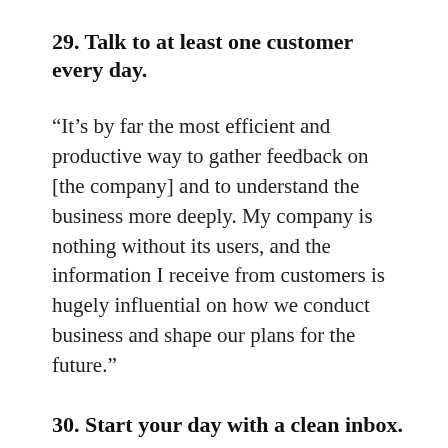29. Talk to at least one customer every day.
“It’s by far the most efficient and productive way to gather feedback on [the company] and to understand the business more deeply. My company is nothing without its users, and the information I receive from customers is hugely influential on how we conduct business and shape our plans for the future.”
30. Start your day with a clean inbox.